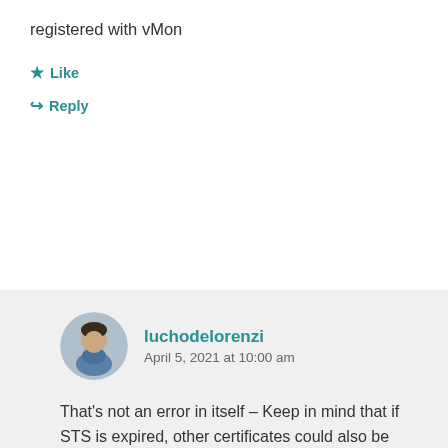registered with vMon
★ Like
↪ Reply
[Figure (photo): Circular avatar photo of user luchodelorenzi showing a person in a blue shirt]
luchodelorenzi
April 5, 2021 at 10:00 am
That's not an error in itself – Keep in mind that if STS is expired, other certificates could also be expired and that is mentioned in the article
★ Like